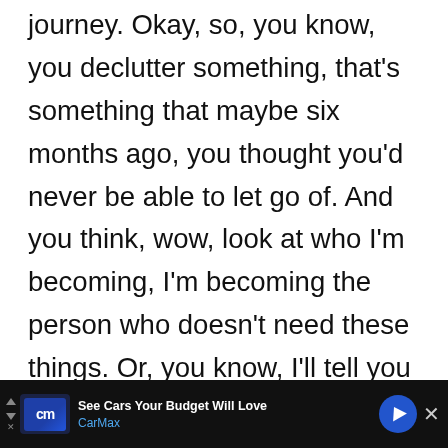journey. Okay, so, you know, you declutter something, that's something that maybe six months ago, you thought you'd never be able to let go of. And you think, wow, look at who I'm becoming, I'm becoming the person who doesn't need these things. Or, you know, I'll tell you a really simple one with me, is that one of my biggest weaknesses used to be I would say yes to anything, when
[Figure (other): UI overlay with heart (like) button in teal/green circle and share button below it, with count '5' between them]
[Figure (other): CarMax advertisement banner at bottom of screen. Dark background with CarMax logo (blue CM), text 'See Cars Your Budget Will Love' and 'CarMax', blue diamond navigation arrow icon, and X close button. Small play/navigation arrows on far left.]